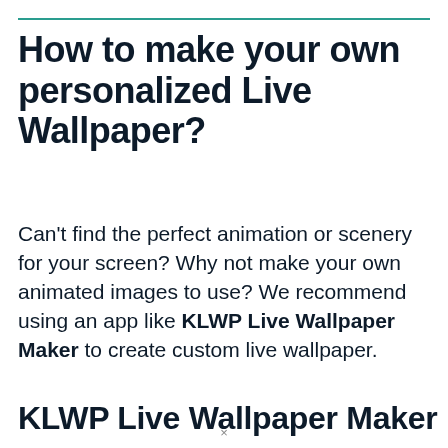How to make your own personalized Live Wallpaper?
Can't find the perfect animation or scenery for your screen? Why not make your own animated images to use? We recommend using an app like KLWP Live Wallpaper Maker to create custom live wallpaper.
KLWP Live Wallpaper Maker